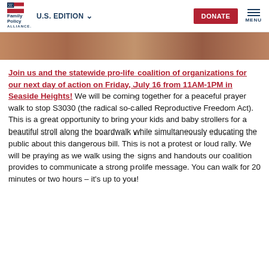Family Policy Alliance | U.S. EDITION | DONATE | MENU
[Figure (photo): Cropped hero image showing hands or skin tones, brown/tan colors, partial view]
Join us and the statewide pro-life coalition of organizations for our next day of action on Friday, July 16 from 11AM-1PM in Seaside Heights! We will be coming together for a peaceful prayer walk to stop S3030 (the radical so-called Reproductive Freedom Act). This is a great opportunity to bring your kids and baby strollers for a beautiful stroll along the boardwalk while simultaneously educating the public about this dangerous bill. This is not a protest or loud rally. We will be praying as we walk using the signs and handouts our coalition provides to communicate a strong prolife message. You can walk for 20 minutes or two hours – it's up to you!